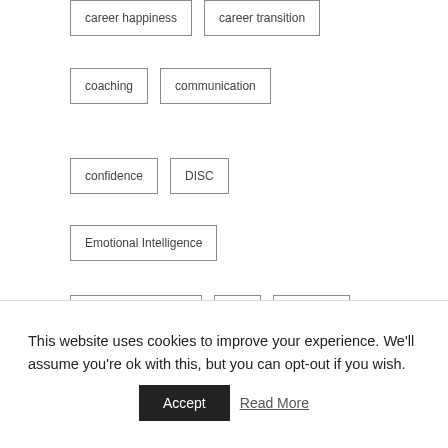career happiness
career transition
coaching
communication
confidence
DISC
Emotional Intelligence
Emotional Quotient
EQ
gratitude
infographic
interviewing
job fit
This website uses cookies to improve your experience. We'll assume you're ok with this, but you can opt-out if you wish.
Accept
Read More